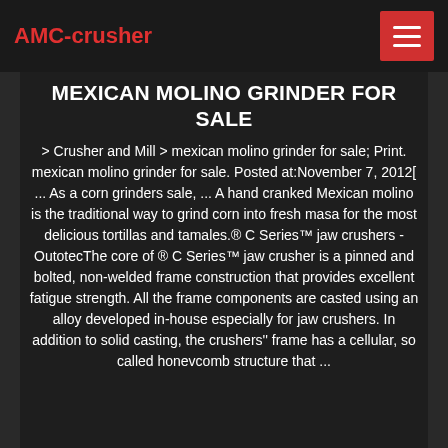AMC-crusher
MEXICAN MOLINO GRINDER FOR SALE
> Crusher and Mill > mexican molino grinder for sale; Print. mexican molino grinder for sale. Posted at:November 7, 2012[ ... As a corn grinders sale, ... A hand cranked Mexican molino is the traditional way to grind corn into fresh masa for the most delicious tortillas and tamales.® C Series™ jaw crushers - OutotecThe core of ® C Series™ jaw crusher is a pinned and bolted, non-welded frame construction that provides excellent fatigue strength. All the frame components are casted using an alloy developed in-house especially for jaw crushers. In addition to solid casting, the crushers'' frame has a cellular, so called honeycomb structure that ...